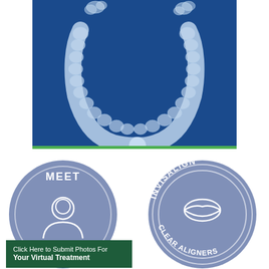[Figure (photo): Clear dental aligner/retainer on a dark blue background with a green bar at the bottom. The transparent aligner is U-shaped showing teeth impressions.]
[Figure (illustration): Circular badge with blue-gray background showing text MEET at top and a white icon of a person/doctor silhouette in the center.]
[Figure (logo): Circular badge with blue-gray background and a double ring border. Text INVISALIGN at top, CLEAR ALIGNERS at bottom, and a white lips/smile icon in the center.]
Click Here to Submit Photos For Your Virtual Treatment